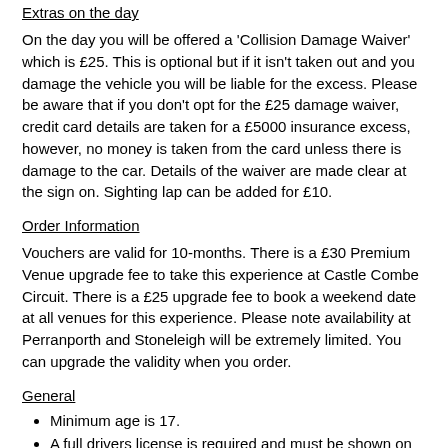Extras on the day
On the day you will be offered a 'Collision Damage Waiver' which is £25. This is optional but if it isn't taken out and you damage the vehicle you will be liable for the excess. Please be aware that if you don't opt for the £25 damage waiver, credit card details are taken for a £5000 insurance excess, however, no money is taken from the card unless there is damage to the car. Details of the waiver are made clear at the sign on. Sighting lap can be added for £10.
Order Information
Vouchers are valid for 10-months. There is a £30 Premium Venue upgrade fee to take this experience at Castle Combe Circuit. There is a £25 upgrade fee to book a weekend date at all venues for this experience. Please note availability at Perranporth and Stoneleigh will be extremely limited. You can upgrade the validity when you order.
General
Minimum age is 17.
A full drivers license is required and must be shown on the day of the event to participate.
Minimum height is 4' 10".